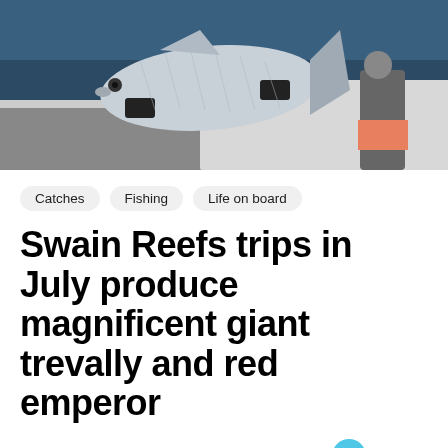[Figure (photo): Person holding a large silver fish (giant trevally) on a boat, ocean visible in background at night or dusk]
Catches   Fishing   Life on board
Swain Reefs trips in July produce magnificent giant trevally and red emperor
Updated on 03/09/2020   Ros   Leave a Comment